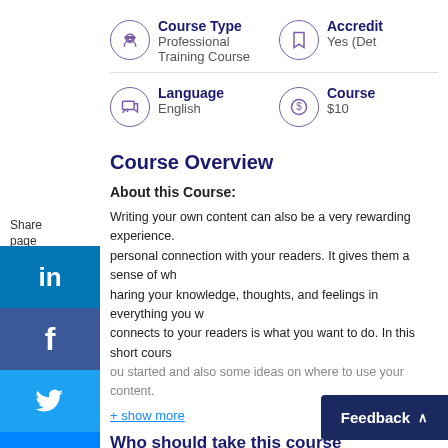Course Type
Professional Training Course
Accreditation
Yes (Details...)
Language
English
Course Price
$10
Share page
Course Overview
About this Course:
Writing your own content can also be a very rewarding experience. It creates a personal connection with your readers. It gives them a sense of who you are by sharing your knowledge, thoughts, and feelings in everything you write. What connects to your readers is what you want to do. In this short course, we will get you started and also some ideas on where to use your content.
+ show more
Who should take this course
Who is the target audience?